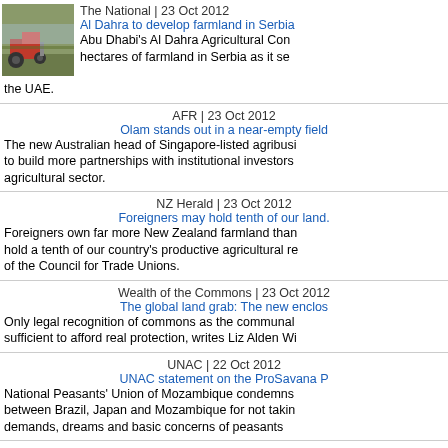[Figure (photo): Tractor in farmland, agricultural scene]
The National | 23 Oct 2012
Al Dahra to develop farmland in Serbia
Abu Dhabi's Al Dahra Agricultural Con... hectares of farmland in Serbia as it se... the UAE.
AFR | 23 Oct 2012
Olam stands out in a near-empty field
The new Australian head of Singapore-listed agribusi... to build more partnerships with institutional investors... agricultural sector.
NZ Herald | 23 Oct 2012
Foreigners may hold tenth of our land.
Foreigners own far more New Zealand farmland than... hold a tenth of our country's productive agricultural re... of the Council for Trade Unions.
Wealth of the Commons | 23 Oct 2012
The global land grab: The new enclos...
Only legal recognition of commons as the communal... sufficient to afford real protection, writes Liz Alden Wi...
UNAC | 22 Oct 2012
UNAC statement on the ProSavana P...
National Peasants' Union of Mozambique condemns... between Brazil, Japan and Mozambique for not takin... demands, dreams and basic concerns of peasants